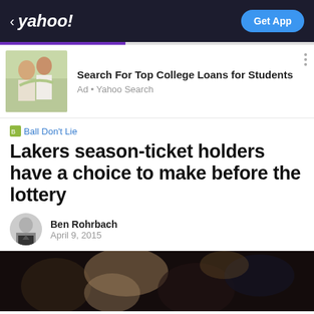< yahoo! | Get App
[Figure (screenshot): Yahoo mobile app navigation bar with yahoo! logo and Get App button]
[Figure (photo): Advertisement image showing two young women laughing outdoors]
Search For Top College Loans for Students
Ad • Yahoo Search
Ball Don't Lie
Lakers season-ticket holders have a choice to make before the lottery
Ben Rohrbach
April 9, 2015
[Figure (photo): Blurred dark crowd photo, article hero image]
View comments